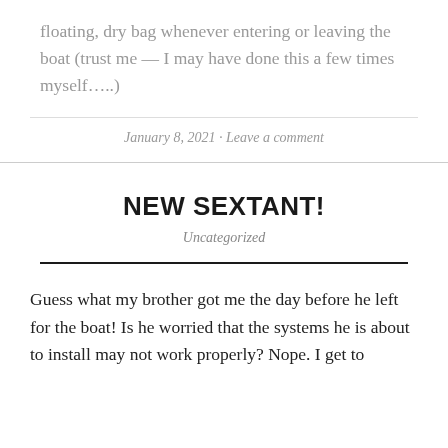floating, dry bag whenever entering or leaving the boat (trust me — I may have done this a few times myself…..)
January 8, 2021 · Leave a comment
NEW SEXTANT!
Uncategorized
Guess what my brother got me the day before he left for the boat! Is he worried that the systems he is about to install may not work properly? Nope. I get to